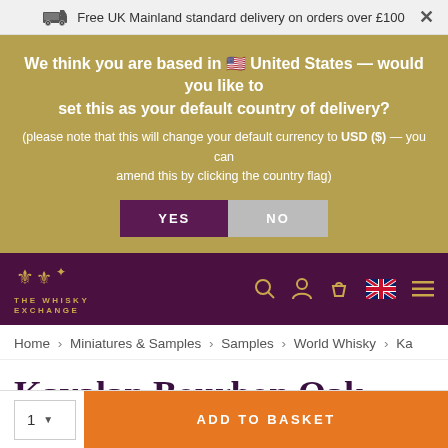Free UK Mainland standard delivery on orders over £100
We think you are based in 🇺🇸 United States — would you like to set this as your default country of delivery? (please note that this will change your default currency to USD ($) — you can amend this by clicking the country flag)
YES | NO
[Figure (logo): The Whisky Exchange logo with crest and navigation icons including search, account, basket, UK flag, and hamburger menu on dark purple background]
Home › Miniatures & Samples › Samples › World Whisky › Ka
Kavalan Bourbon Oak Sample
Taiwanese Single Malt Whisky
1 ∨  ADD TO BASKET